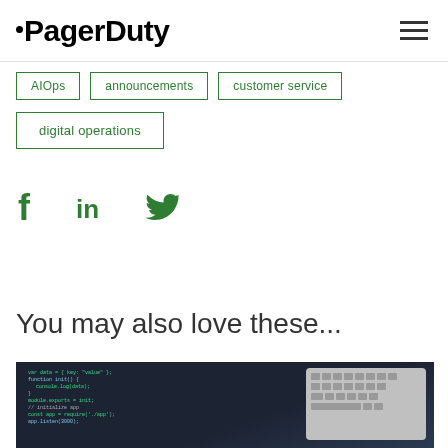PagerDuty
AIOps
announcements
customer service
digital operations
[Figure (illustration): Social media icons: Facebook (f), LinkedIn (in), Twitter bird icon, in green]
You may also love these...
[Figure (photo): Photo of a laptop keyboard next to a screen showing code/programming text in green on a dark background]